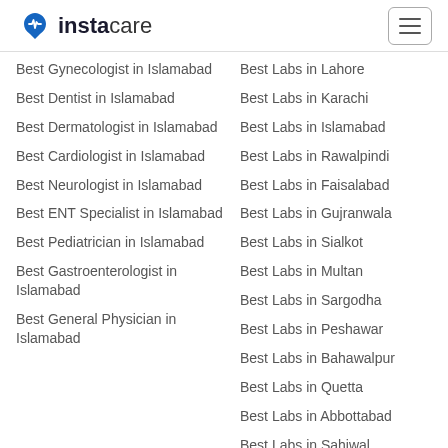instacare
Best Gynecologist in Islamabad
Best Dentist in Islamabad
Best Dermatologist in Islamabad
Best Cardiologist in Islamabad
Best Neurologist in Islamabad
Best ENT Specialist in Islamabad
Best Pediatrician in Islamabad
Best Gastroenterologist in Islamabad
Best General Physician in Islamabad
Best Labs in Lahore
Best Labs in Karachi
Best Labs in Islamabad
Best Labs in Rawalpindi
Best Labs in Faisalabad
Best Labs in Gujranwala
Best Labs in Sialkot
Best Labs in Multan
Best Labs in Sargodha
Best Labs in Peshawar
Best Labs in Bahawalpur
Best Labs in Quetta
Best Labs in Abbottabad
Best Labs in Sahiwal
Best Labs in Wah Cantt
View All Labs in Pakistan